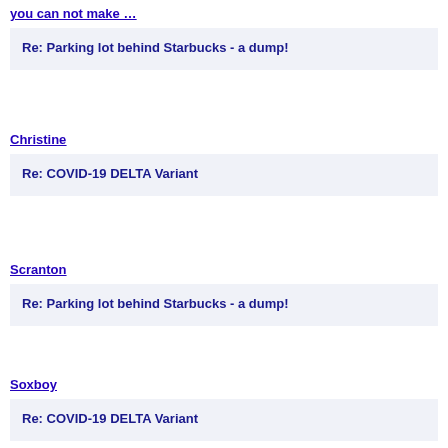you can not make …
Re: Parking lot behind Starbucks - a dump!
Christine
Re: COVID-19 DELTA Variant
Scranton
Re: Parking lot behind Starbucks - a dump!
Soxboy
Re: COVID-19 DELTA Variant